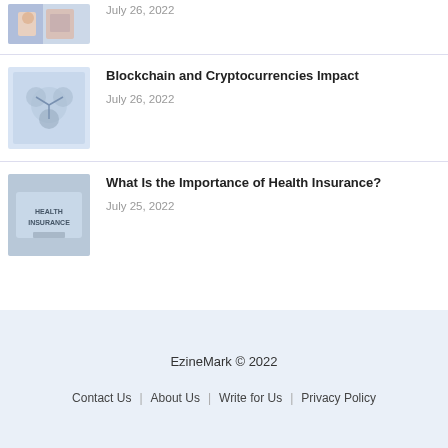[Figure (photo): Partial top thumbnail image, cropped people]
July 26, 2022
[Figure (illustration): Blockchain and cryptocurrencies thumbnail image]
Blockchain and Cryptocurrencies Impact
July 26, 2022
[Figure (photo): Health insurance thumbnail image with text HEALTH INSURANCE]
What Is the Importance of Health Insurance?
July 25, 2022
EzineMark © 2022
Contact Us | About Us | Write for Us | Privacy Policy